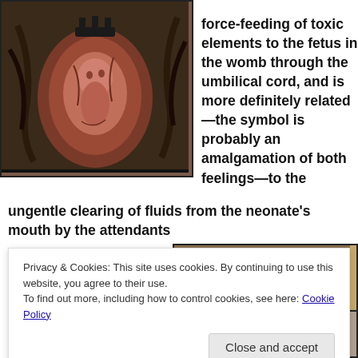[Figure (illustration): Digital illustration of a fetus inside a dark, organic womb-like sac with mechanical or creature-like tendrils surrounding it]
force-feeding of toxic elements to the fetus in the womb through the umbilical cord, and is more definitely related —the symbol is probably an amalgamation of both feelings—to the ungentle clearing of fluids from the neonate's mouth by the attendants
[Figure (photo): Partial photo visible in upper right, appears to show a person]
Privacy & Cookies: This site uses cookies. By continuing to use this website, you agree to their use.
To find out more, including how to control cookies, see here: Cookie Policy
Close and accept
ungentle mouth
[Figure (photo): Partial photo at bottom right showing a person]